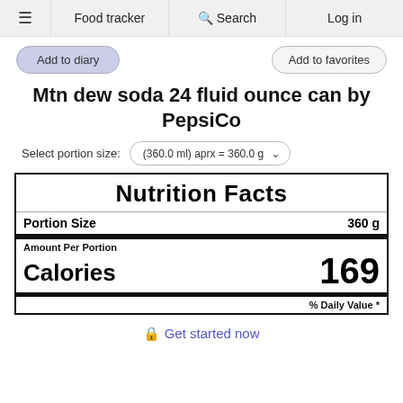≡  Food tracker  🔍 Search  Log in
Add to diary
Add to favorites
Mtn dew soda 24 fluid ounce can by PepsiCo
Select portion size: (360.0 ml) aprx = 360.0 g
| Nutrition Facts |
| Portion Size | 360 g |
| Amount Per Portion |  |
| Calories | 169 |
| % Daily Value * |  |
🔒 Get started now